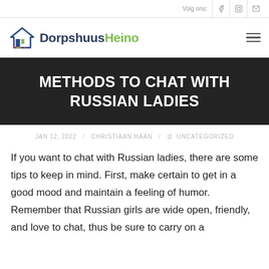Volg ons:
[Figure (logo): DorpshuusHeino logo with house icon, text 'DorpshuusHeino' in dark blue and green]
METHODS TO CHAT WITH RUSSIAN LADIES
JAN 12, 2022 / CHRISTIAAN HAAN / UNCATEGORIZED
If you want to chat with Russian ladies, there are some tips to keep in mind. First, make certain to get in a good mood and maintain a feeling of humor. Remember that Russian girls are wide open, friendly, and love to chat, thus be sure to carry on a